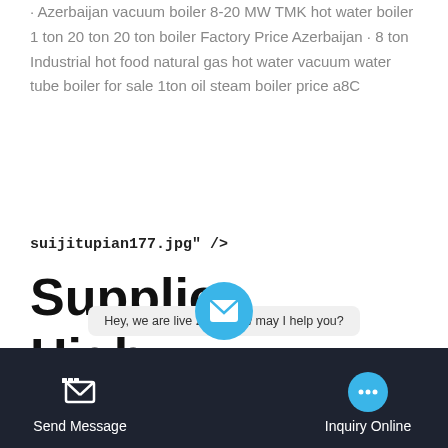· Azerbaijan vacuum boiler 8-20 MW TMK hot water boiler 1 ton 20 ton 20 ton boiler Factory Price Azerbaijan · 8 ton Industrial hot food natural gas hot water vacuum water tube boiler for sale 1ton oil steam boiler price a8C
suijitupian177.jpg" />
Supplier High Efficiency 20t Gas Boiler Azerbaijan
Gas Boiler Plant Industrial Azerbaijan Agent 20t Boiler Plant Azerbaijan This series boiler is horizontal fire tube 3 pass oil gas fired steam boiler. the steam capacity is 1-20t/h. thermal efficiency is 92%. Installation Site This is the 3600000 Kcal biomss fired thermal
Send Message
Hey, we are live 24/7. How may I help you?
Inquiry Online